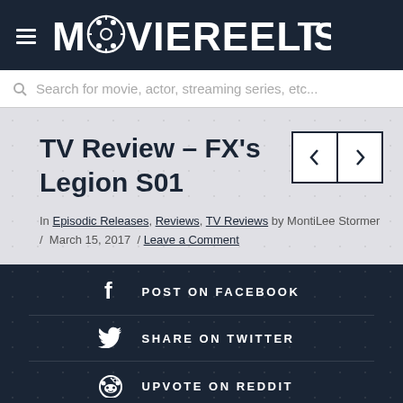[Figure (logo): MovieReelist website logo with hamburger menu icon on dark navy header bar]
Search for movie, actor, streaming series, etc...
TV Review – FX's Legion S01
In Episodic Releases, Reviews, TV Reviews by MontiLee Stormer / March 15, 2017 / Leave a Comment
POST ON FACEBOOK
SHARE ON TWITTER
UPVOTE ON REDDIT
COPY TO CLIPBOARD